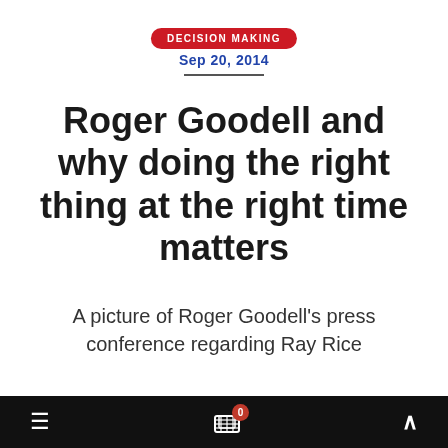DECISION MAKING
Sep 20, 2014
Roger Goodell and why doing the right thing at the right time matters
A picture of Roger Goodell's press conference regarding Ray Rice
I have to admit that growing up in Hong Kong in the sixties did not translate into being a huge football
≡  🛒 0  ∧